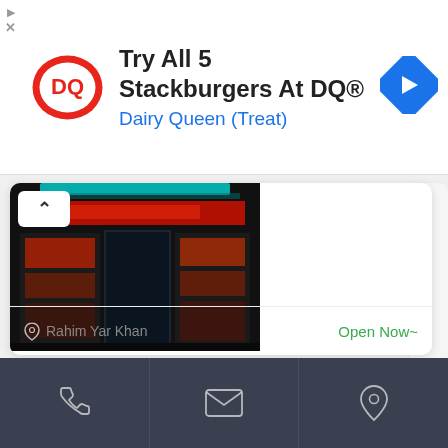[Figure (screenshot): DQ Dairy Queen advertisement banner with DQ logo, text 'Try All 5 Stackburgers At DQ®' and 'Dairy Queen (Treat)', and a blue navigation arrow icon]
[Figure (photo): Storefront photo of Cheesy Bits rahim-yar-khan restaurant, dark exterior with teal ceiling lights]
Cheesy Bits rahim-yar-khan
Be the first one to rate!
Restaurant
Rahim Yar Khan
Open Now~
[Figure (infographic): Bottom navigation bar with phone/call icon, message/email icon, and location pin icon on dark background]